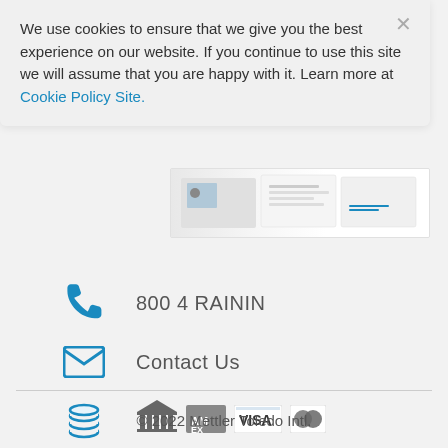We use cookies to ensure that we give you the best experience on our website. If you continue to use this site we will assume that you are happy with it. Learn more at Cookie Policy Site.
[Figure (screenshot): Partial view of a product brochure showing document pages with images and text]
800 4 RAININ
Contact Us
[Figure (infographic): Payment icons: bank/institution icon, American Express, Visa, Mastercard]
© 2022 Mettler Toledo Intl.